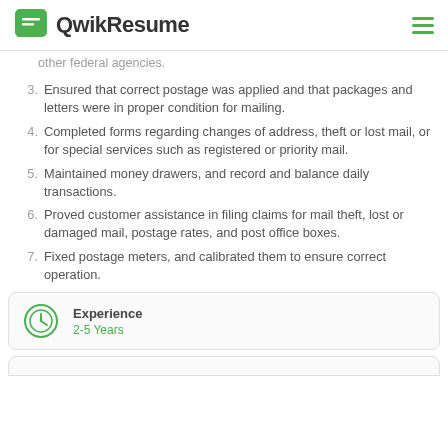QwikResume
other federal agencies.
Ensured that correct postage was applied and that packages and letters were in proper condition for mailing.
Completed forms regarding changes of address, theft or lost mail, or for special services such as registered or priority mail.
Maintained money drawers, and record and balance daily transactions.
Proved customer assistance in filing claims for mail theft, lost or damaged mail, postage rates, and post office boxes.
Fixed postage meters, and calibrated them to ensure correct operation.
Experience
2-5 Years